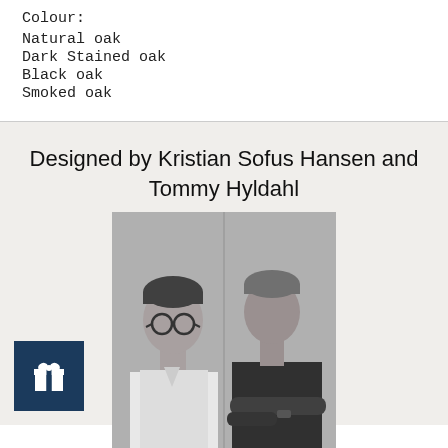Colour:
Natural oak
Dark Stained oak
Black oak
Smoked oak
Designed by Kristian Sofus Hansen and Tommy Hyldahl
[Figure (photo): Black and white portrait photo of two men side by side: one younger wearing glasses and a white shirt, one older wearing a black t-shirt with arms crossed]
[Figure (logo): Dark blue square icon with a white gift/present icon in the center]